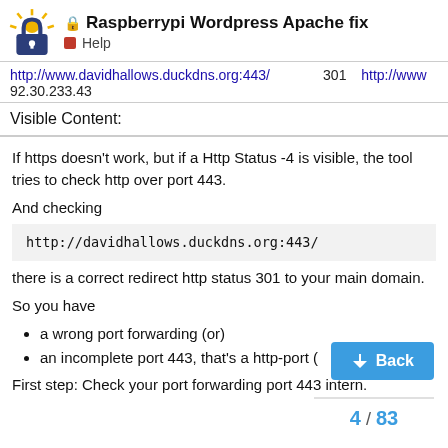🔒 Raspberrypi Wordpress Apache fix — Help
| http://www.davidhallows.duckdns.org:443/ | 301 | http://www | 92.30.233.43 |
Visible Content:
If https doesn't work, but if a Http Status -4 is visible, the tool tries to check http over port 443.
And checking
there is a correct redirect http status 301 to your main domain.
So you have
a wrong port forwarding (or)
an incomplete port 443, that's a http-port (not a https-port)
First step: Check your port forwarding port 443 intern.